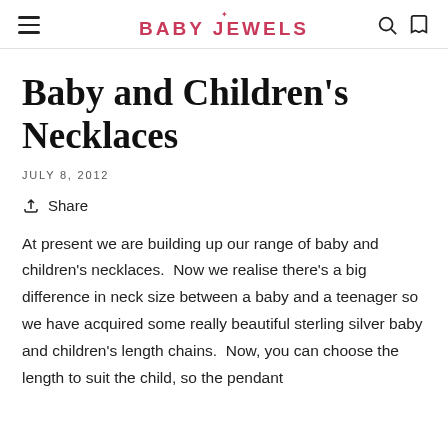BABY JEWELS
Baby and Children's Necklaces
JULY 8, 2012
Share
At present we are building up our range of baby and children's necklaces.  Now we realise there's a big difference in neck size between a baby and a teenager so we have acquired some really beautiful sterling silver baby and children's length chains.  Now, you can choose the length to suit the child, so the pendant